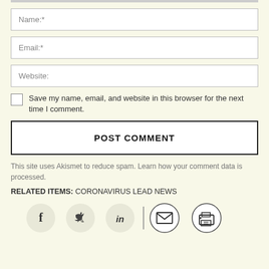Name:*
Email:*
Website:
Save my name, email, and website in this browser for the next time I comment.
POST COMMENT
This site uses Akismet to reduce spam. Learn how your comment data is processed.
RELATED ITEMS: CORONAVIRUS LEAD NEWS
[Figure (other): Social share icons: Facebook (f), Twitter (bird), LinkedIn (in), Email (envelope), Print (printer) with a vertical divider between LinkedIn and Email icons]